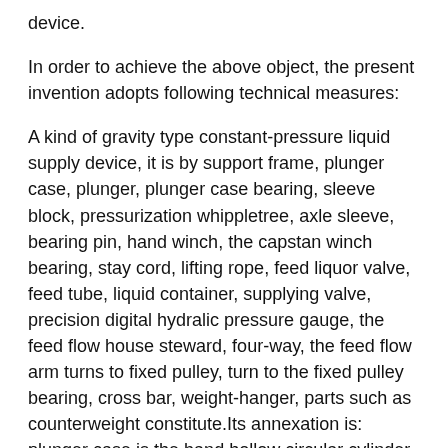device.
In order to achieve the above object, the present invention adopts following technical measures:
A kind of gravity type constant-pressure liquid supply device, it is by support frame, plunger case, plunger, plunger case bearing, sleeve block, pressurization whippletree, axle sleeve, bearing pin, hand winch, the capstan winch bearing, stay cord, lifting rope, feed liquor valve, feed tube, liquid container, supplying valve, precision digital hydralic pressure gauge, the feed flow house steward, four-way, the feed flow arm turns to fixed pulley, turn to the fixed pulley bearing, cross bar, weight-hanger, parts such as counterweight constitute.Its annexation is: plunger case is the band hollow circular cylinder at the end, and plunger is a right cylinder, and plunger is installed in the plunger case.Support frame is the three-dimensional rigid frame of a rectangle, and the plunger case horizontal positioned also is fixed on the support frame center upper portion by two plunger case bearings.The left part central authorities of plunger are provided with sleeve block, and the right side central authorities of pressurization